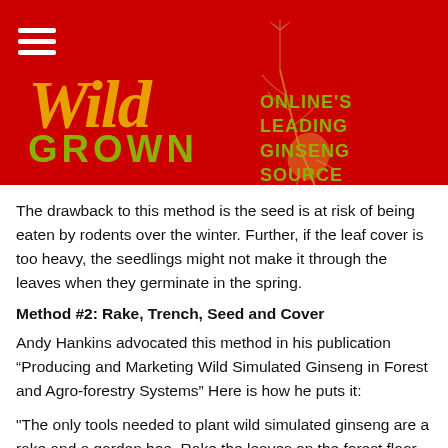[Figure (logo): Wild Grown logo on red background with hamburger menu, decorative ginseng plant illustration, 'Wild' in italic gold text, 'GROWN' in olive/green text, and tagline 'ONLINE'S LEADING GINSENG SOURCE' in olive/green text]
The drawback to this method is the seed is at risk of being eaten by rodents over the winter. Further, if the leaf cover is too heavy, the seedlings might not make it through the leaves when they germinate in the spring.
Method #2: Rake, Trench, Seed and Cover
Andy Hankins advocated this method in his publication “Producing and Marketing Wild Simulated Ginseng in Forest and Agro-forestry Systems” Here is how he puts it:
"The only tools needed to plant wild simulated ginseng are a rake and a garden hoe. Rake the leaves on the forest floor away from the 5 foot wide bed right down to the topsoil. Using one corner of the hoe, make three narrow furrows 18 inches apart, all the way down the length of the bed.